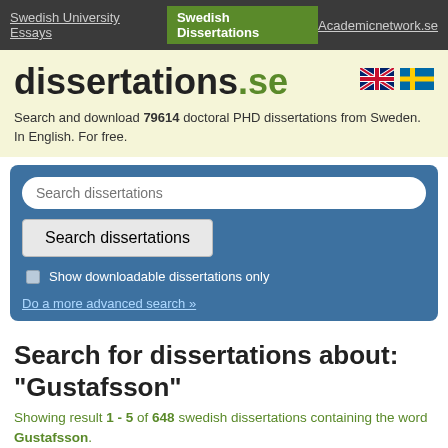Swedish University Essays | Swedish Dissertations | Academicnetwork.se
dissertations.se
Search and download 79614 doctoral PHD dissertations from Sweden. In English. For free.
[Figure (screenshot): Search box with input field labeled 'Search dissertations', a 'Search dissertations' button, a checkbox for 'Show downloadable dissertations only', and a link 'Do a more advanced search »']
Search for dissertations about: "Gustafsson"
Showing result 1 - 5 of 648 swedish dissertations containing the word Gustafsson.